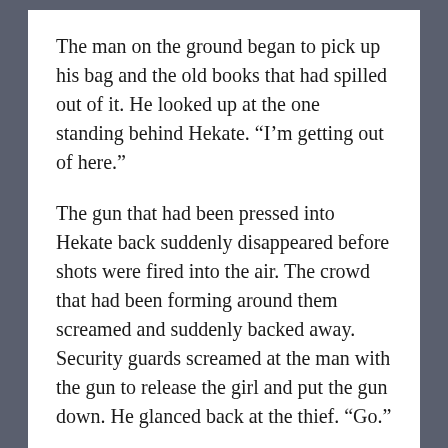The man on the ground began to pick up his bag and the old books that had spilled out of it. He looked up at the one standing behind Hekate. “I’m getting out of here.”
The gun that had been pressed into Hekate back suddenly disappeared before shots were fired into the air. The crowd that had been forming around them screamed and suddenly backed away. Security guards screamed at the man with the gun to release the girl and put the gun down. He glanced back at the thief. “Go.”
Refocusing his attention on Hekate, he leaned close to her ear again. She could barely hear him over the ringing he had caused with his shooting. “Moro always did